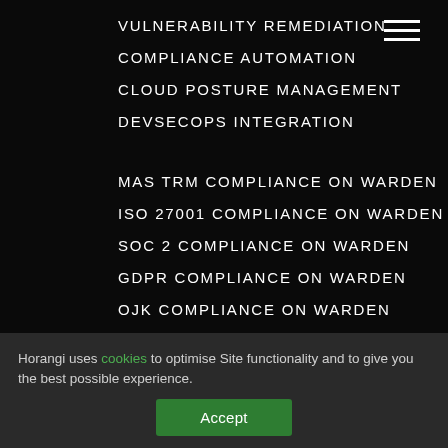VULNERABILITY REMEDIATION
COMPLIANCE AUTOMATION
CLOUD POSTURE MANAGEMENT
DEVSECOPS INTEGRATION
MAS TRM COMPLIANCE ON WARDEN
ISO 27001 COMPLIANCE ON WARDEN
SOC 2 COMPLIANCE ON WARDEN
GDPR COMPLIANCE ON WARDEN
OJK COMPLIANCE ON WARDEN
PCI DSS COMPLIANCE ON WARDEN
FREE TRIAL
Horangi uses cookies to optimise Site functionality and to give you the best possible experience.